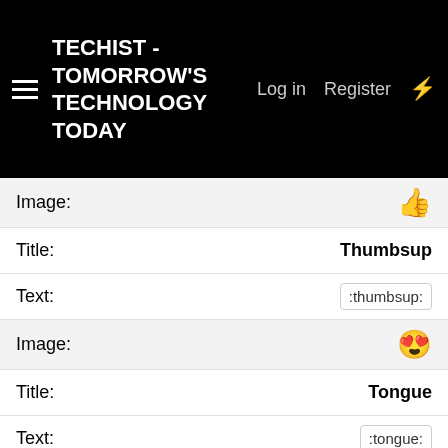TECHIST - TOMORROW'S TECHNOLOGY TODAY  Log in  Register
Image:
Title: Thumbsup
Text: :thumbsup:
Image:
Title: Tongue
Text: :tongue:
Image:
Title: Typo
Text: :typo: